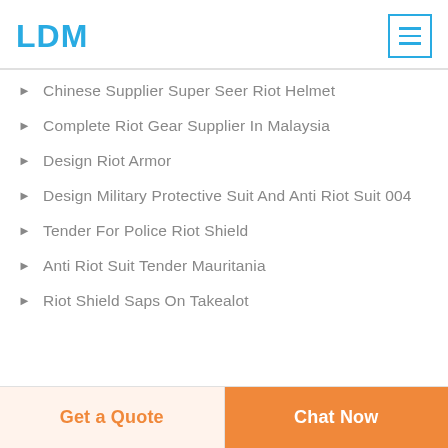LDM
Chinese Supplier Super Seer Riot Helmet
Complete Riot Gear Supplier In Malaysia
Design Riot Armor
Design Military Protective Suit And Anti Riot Suit 004
Tender For Police Riot Shield
Anti Riot Suit Tender Mauritania
Riot Shield Saps On Takealot
Get a Quote | Chat Now